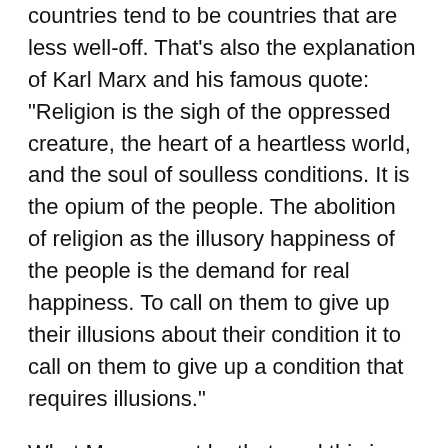countries tend to be countries that are less well-off. That's also the explanation of Karl Marx and his famous quote: "Religion is the sigh of the oppressed creature, the heart of a heartless world, and the soul of soulless conditions. It is the opium of the people. The abolition of religion as the illusory happiness of the people is the demand for real happiness. To call on them to give up their illusions about their condition it to call on them to give up a condition that requires illusions."
What Marx meant by that, and this is often taken as an anti-religious quote, is that religiosity arises when people have no other place to turn to in their lives. It is the opium of the people. And to rectify the situation, where you have an illusory kind of solution to a very real physical problem, is the next paragraph: "To call on people to give up their illusions about these conditions is to call on them to give up a condition that requires illusions."